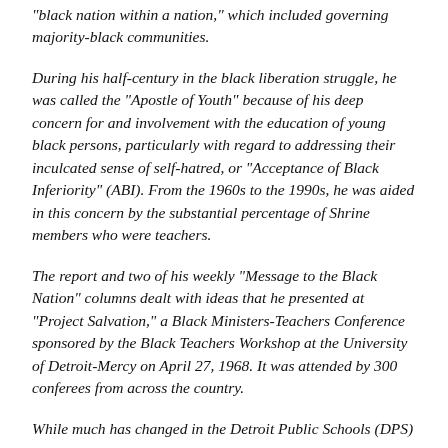“black nation within a nation,” which included governing majority-black communities.
During his half-century in the black liberation struggle, he was called the “Apostle of Youth” because of his deep concern for and involvement with the education of young black persons, particularly with regard to addressing their inculcated sense of self-hatred, or “Acceptance of Black Inferiority” (ABI).   From the 1960s to the 1990s, he was aided in this concern by the substantial percentage of Shrine members who were teachers.
The report and two of his weekly “Message to the Black Nation” columns dealt with ideas that he presented at “Project Salvation,” a Black Ministers-Teachers Conference sponsored by the Black Teachers Workshop at the University of Detroit-Mercy on April 27, 1968.   It was attended by 300 conferees from across the country.
While much has changed in the Detroit Public Schools (DPS)